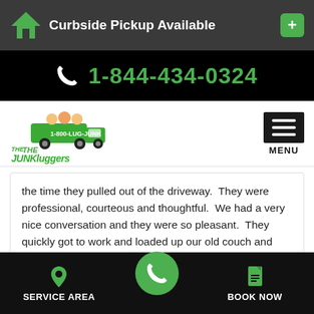Curbside Pickup Available
1-844-434-0324
[Figure (logo): The Junkluggers logo with truck and mascots]
the time they pulled out of the driveway.  They were professional, courteous and thoughtful.  We had a very nice conversation and they were so pleasant.  They quickly got to work and loaded up our old couch and chair into their truck and hauled it away.  I would recommend them to anyone!
Alex C. of Meridian, ID
SERVICE AREA  BOOK NOW